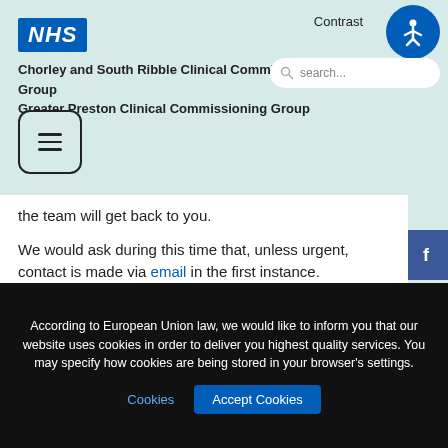NHS
Contrast
Chorley and South Ribble Clinical Commissioning Group
Greater Preston Clinical Commissioning Group
the team will get back to you.
We would ask during this time that, unless urgent, contact is made via email in the first instance.
We thank you for your patience and understanding during this period.
For queries relating to your GP records please
According to European Union law, we would like to inform you that our website uses cookies in order to deliver you highest quality services. You may specify how cookies are being stored in your browser's settings.